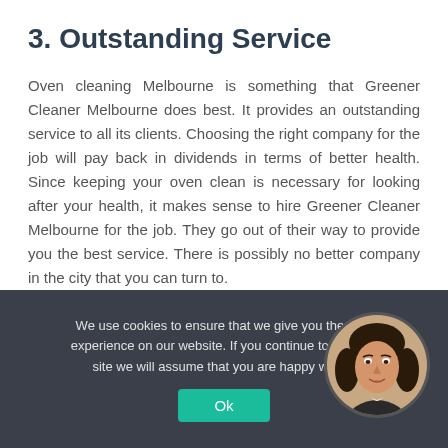3. Outstanding Service
Oven cleaning Melbourne is something that Greener Cleaner Melbourne does best. It provides an outstanding service to all its clients. Choosing the right company for the job will pay back in dividends in terms of better health. Since keeping your oven clean is necessary for looking after your health, it makes sense to hire Greener Cleaner Melbourne for the job. They go out of their way to provide you the best service. There is possibly no better company in the city that you can turn to.
4. Reliable Service
We use cookies to ensure that we give you the best experience on our website. If you continue to use this site we will assume that you are happy with it.
[Figure (photo): Portrait photo of a woman with dark hair, circular crop, shown in the cookie consent banner area]